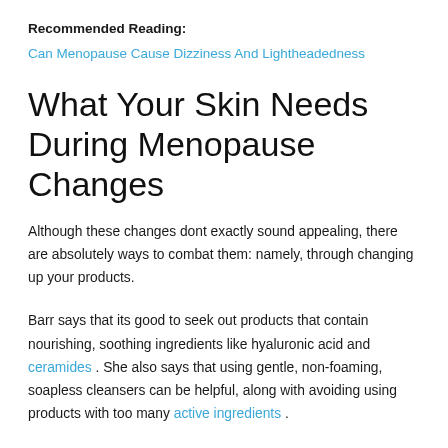Recommended Reading:
Can Menopause Cause Dizziness And Lightheadedness
What Your Skin Needs During Menopause Changes
Although these changes dont exactly sound appealing, there are absolutely ways to combat them: namely, through changing up your products.
Barr says that its good to seek out products that contain nourishing, soothing ingredients like hyaluronic acid and ceramides . She also says that using gentle, non-foaming, soapless cleansers can be helpful, along with avoiding using products with too many active ingredients .